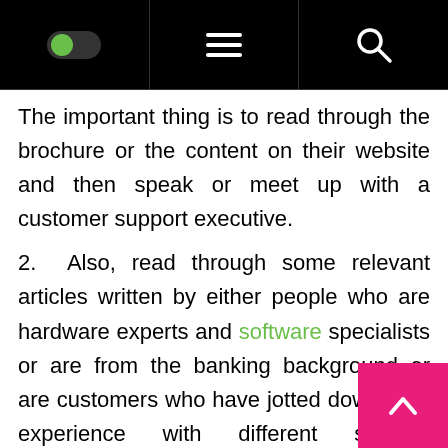[Figure (screenshot): Mobile app navigation bar with toggle switch (green), hamburger menu, and search icon on black background]
The important thing is to read through the brochure or the content on their website and then speak or meet up with a customer support executive.
2. Also, read through some relevant articles written by either people who are hardware experts and software specialists or are from the banking background or are customers who have jotted down their experience with different solution providers. These articles will be closest to the true picture giving the mercha deep insight into the state of affairs of